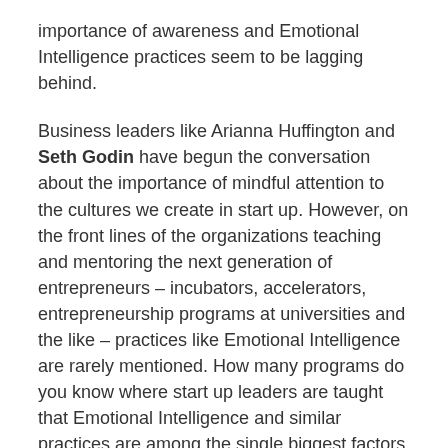importance of awareness and Emotional Intelligence practices seem to be lagging behind.
Business leaders like Arianna Huffington and Seth Godin have begun the conversation about the importance of mindful attention to the cultures we create in start up. However, on the front lines of the organizations teaching and mentoring the next generation of entrepreneurs – incubators, accelerators, entrepreneurship programs at universities and the like – practices like Emotional Intelligence are rarely mentioned. How many programs do you know where start up leaders are taught that Emotional Intelligence and similar practices are among the single biggest factors about whether a start up fails or thrives?
Twitter co-founder Biz Stone said: